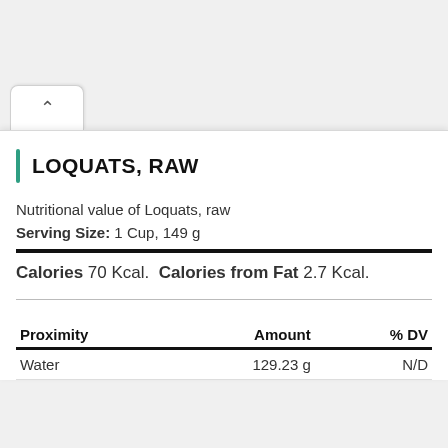LOQUATS, RAW
Nutritional value of Loquats, raw
Serving Size: 1 Cup, 149 g
Calories 70 Kcal. Calories from Fat 2.7 Kcal.
| Proximity | Amount | % DV |
| --- | --- | --- |
| Water | 129.23 g | N/D |